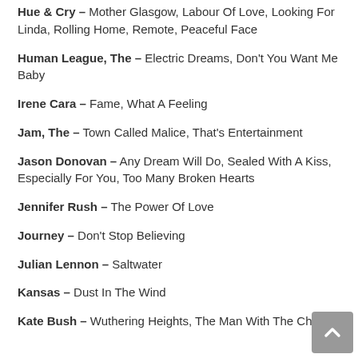Hue & Cry – Mother Glasgow, Labour Of Love, Looking For Linda, Rolling Home, Remote, Peaceful Face
Human League, The – Electric Dreams, Don't You Want Me Baby
Irene Cara – Fame, What A Feeling
Jam, The – Town Called Malice, That's Entertainment
Jason Donovan – Any Dream Will Do, Sealed With A Kiss, Especially For You, Too Many Broken Hearts
Jennifer Rush – The Power Of Love
Journey – Don't Stop Believing
Julian Lennon – Saltwater
Kansas – Dust In The Wind
Kate Bush – Wuthering Heights, The Man With The Child In